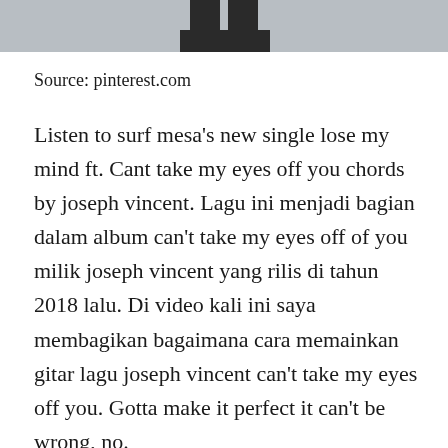[Figure (photo): Bottom portion of a person standing, wearing dark pants, cropped photo with light grey background]
Source: pinterest.com
Listen to surf mesa's new single lose my mind ft. Cant take my eyes off you chords by joseph vincent. Lagu ini menjadi bagian dalam album can't take my eyes off of you milik joseph vincent yang rilis di tahun 2018 lalu. Di video kali ini saya membagikan bagaimana cara memainkan gitar lagu joseph vincent can't take my eyes off you. Gotta make it perfect it can't be wrong, no.